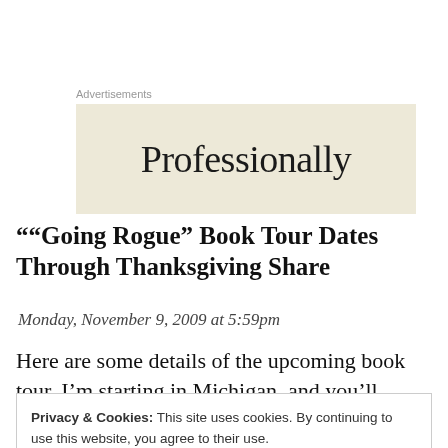[Figure (other): Advertisement banner with beige/cream background showing partial word 'Professionally' in large serif font. Labeled 'Advertisements' above.]
““Going Rogue” Book Tour Dates Through Thanksgiving Share
Monday, November 9, 2009 at 5:59pm
Here are some details of the upcoming book tour. I’m starting in Michigan, and you’ll understand why when you
Privacy & Cookies: This site uses cookies. By continuing to use this website, you agree to their use.
To find out more, including how to control cookies, see here: Cookie Policy
most family there during his hockey days.